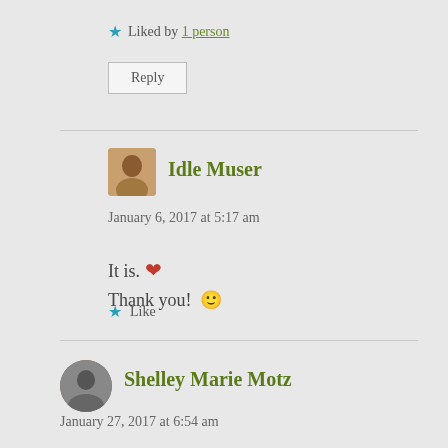★ Liked by 1 person
Reply
Idle Muser
January 6, 2017 at 5:17 am
It is. ❤
Thank you! 🙂
★ Like
Shelley Marie Motz
January 27, 2017 at 6:54 am